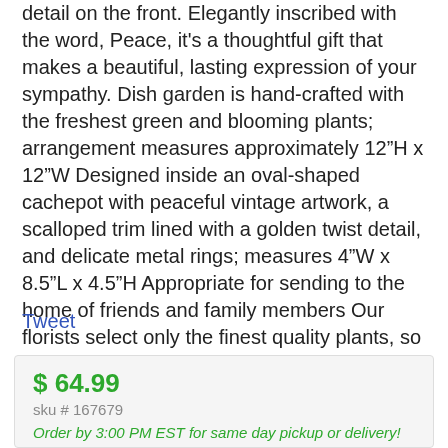detail on the front. Elegantly inscribed with the word, Peace, it's a thoughtful gift that makes a beautiful, lasting expression of your sympathy. Dish garden is hand-crafted with the freshest green and blooming plants; arrangement measures approximately 12"H x 12"W Designed inside an oval-shaped cachepot with peaceful vintage artwork, a scalloped trim lined with a golden twist detail, and delicate metal rings; measures 4"W x 8.5"L x 4.5"H Appropriate for sending to the home of friends and family members Our florists select only the finest quality plants, so types and varieties may vary due to local availability
Tweet
$ 64.99
sku # 167679
Order by 3:00 PM EST for same day pickup or delivery!
Delivery or Pickup?